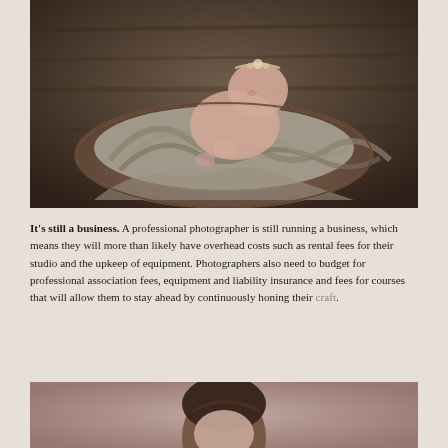[Figure (photo): Newborn baby sleeping in a round wooden bowl, wrapped in a grey soft fabric, wearing a small floral headband. Dark, warm-toned artistic photography background.]
It's still a business. A professional photographer is still running a business, which means they will more than likely have overhead costs such as rental fees for their studio and the upkeep of equipment. Photographers also need to budget for professional association fees, equipment and liability insurance and fees for courses that will allow them to stay ahead by continuously honing their craft.
[Figure (photo): Partial view of a person's head with dark hair, photographed against a soft pink/mauve background, artistic portrait style.]